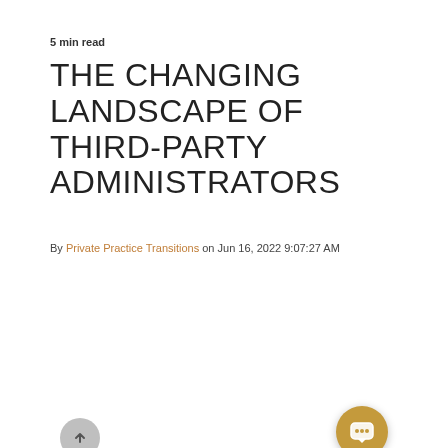5 min read
THE CHANGING LANDSCAPE OF THIRD-PARTY ADMINISTRATORS
By Private Practice Transitions on Jun 16, 2022 9:07:27 AM
[Figure (photo): Blurred photo of a person in a suit holding a tablet displaying 'THIRD-PARTY' text with a chat popup overlay reading 'Is there something that I can help you with today?']